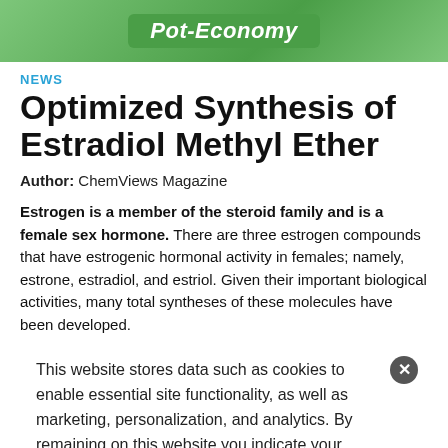[Figure (illustration): Green banner with 'Pot-Economy' text in italic white on a dark green rounded rectangle, cannabis leaf decorations on sides]
NEWS
Optimized Synthesis of Estradiol Methyl Ether
Author: ChemViews Magazine
Estrogen is a member of the steroid family and is a female sex hormone. There are three estrogen compounds that have estrogenic hormonal activity in females; namely, estrone, estradiol, and estriol. Given their important biological activities, many total syntheses of these molecules have been developed.
Yujiro Hayashi and colleagues, Graduate School of Science Tohoku University, established an atom-economical and enantioselective total synthesis of estradiol methyl ether in a highly diastereo- and enantioselective manner via the Diphenylprolinol silyl ether-mediated Michael reaction of reaction of diphenylprolinol silyl ether-mediated Michael reaction of
This website stores data such as cookies to enable essential site functionality, as well as marketing, personalization, and analytics. By remaining on this website you indicate your consent. Privacy Policy